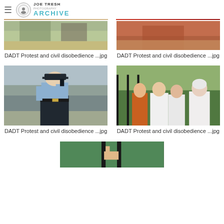JOE TRESH ARCHIVE
[Figure (photo): Partial top of photo - outdoor scene with trees/protest (cropped top)]
DADT Protest and civil disobedience ...jpg
[Figure (photo): Partial top of photo - outdoor protest scene (cropped top, reddish tones)]
DADT Protest and civil disobedience ...jpg
[Figure (photo): Police officer in light blue uniform talking on phone, walking outdoors]
DADT Protest and civil disobedience ...jpg
[Figure (photo): Group of protest participants in white t-shirts standing near fence, looking up]
DADT Protest and civil disobedience ...jpg
[Figure (photo): Partial bottom photo - person near fence (cropped, partially visible)]